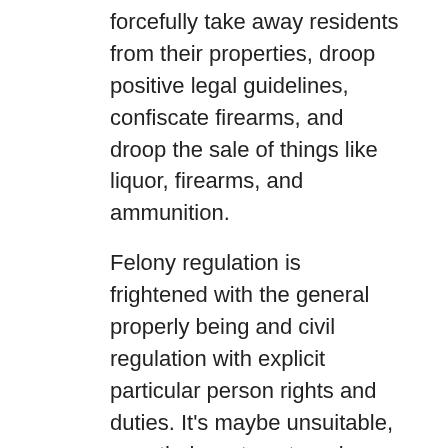forcefully take away residents from their properties, droop positive legal guidelines, confiscate firearms, and droop the sale of things like liquor, firearms, and ammunition.
Felony regulation is frightened with the general properly being and civil regulation with explicit particular person rights and duties. It’s maybe unsuitable, nonetheless, to categorise an individual act as being each a civil or a felony fallacious. Many acts are each. For example, for those who occur to take your coat to be cleaned and the cleaner steals it then, clearly, the crime of theft has been dedicated. Moreover there’s a breach of the contract to wash and a tort of conversion (denial of your proper to your property) has moreover been devoted. It is not the act itself